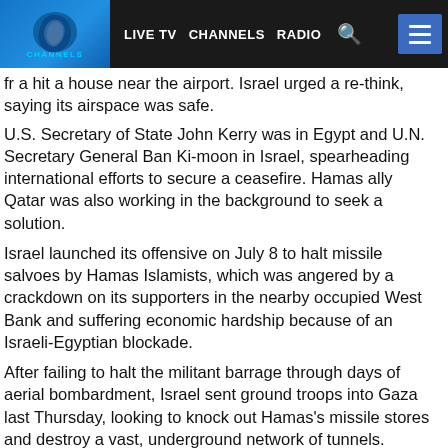LIVE TV  CHANNELS  RADIO
fr a hit a house near the airport. Israel urged a re-think, saying its airspace was safe.
U.S. Secretary of State John Kerry was in Egypt and U.N. Secretary General Ban Ki-moon in Israel, spearheading international efforts to secure a ceasefire. Hamas ally Qatar was also working in the background to seek a solution.
Israel launched its offensive on July 8 to halt missile salvoes by Hamas Islamists, which was angered by a crackdown on its supporters in the nearby occupied West Bank and suffering economic hardship because of an Israeli-Egyptian blockade.
After failing to halt the militant barrage through days of aerial bombardment, Israel sent ground troops into Gaza last Thursday, looking to knock out Hamas's missile stores and destroy a vast, underground network of tunnels.
Some 630 Palestinians, many of them children and civilians have died in the conflagration, including a seven-year-old hit by a shell in southern Gaza early on Wednesday, a medic said.
Some 32 Israeli soldiers have been killed, including a tank officer wh